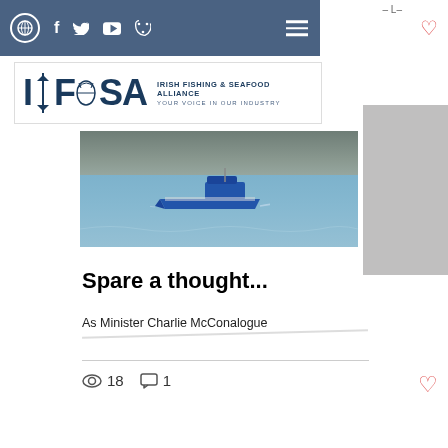IFSA - Irish Fishing & Seafood Alliance website page header with navigation
[Figure (logo): IFSA - Irish Fishing & Seafood Alliance logo. Text: IFSA | IRISH FISHING & SEAFOOD ALLIANCE | YOUR VOICE IN OUR INDUSTRY]
[Figure (photo): A blue fishing vessel moving through calm harbor water with a stone breakwater in the background]
Spare a thought...
As Minister Charlie McConalogue relaxes on his farm for the
18  1